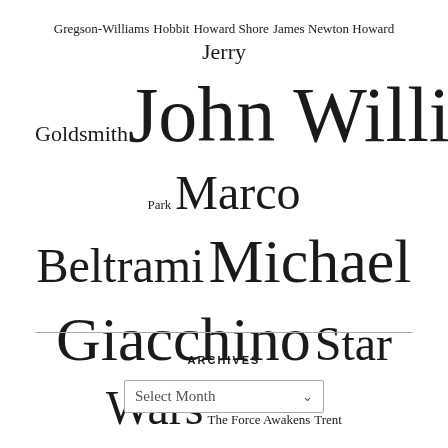Gregson-Williams Hobbit Howard Shore James Newton Howard Jerry Goldsmith John Williams Jurassic Park Marco Beltrami Michael Giacchino Star Wars The Force Awakens Trent Reznor
ARCHIVES